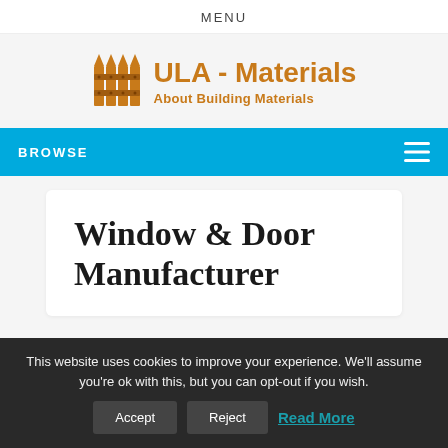MENU
[Figure (logo): ULA - Materials logo with wooden fence icon. Text: ULA - Materials, About Building Materials]
BROWSE
Window & Door Manufacturer
This website uses cookies to improve your experience. We'll assume you're ok with this, but you can opt-out if you wish. Accept Reject Read More